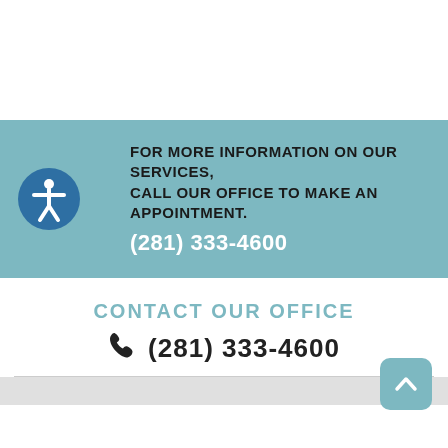FOR MORE INFORMATION ON OUR SERVICES, CALL OUR OFFICE TO MAKE AN APPOINTMENT. (281) 333-4600
CONTACT OUR OFFICE
(281) 333-4600